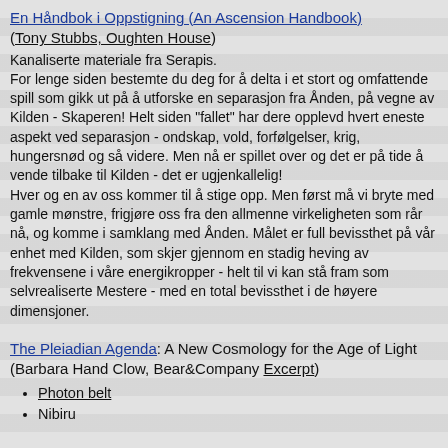En Håndbok i Oppstigning (An Ascension Handbook)
(Tony Stubbs, Oughten House)
Kanaliserte materiale fra Serapis.
For lenge siden bestemte du deg for å delta i et stort og omfattende spill som gikk ut på å utforske en separasjon fra Ånden, på vegne av Kilden - Skaperen! Helt siden "fallet" har dere opplevd hvert eneste aspekt ved separasjon - ondskap, vold, forfølgelser, krig, hungersnød og så videre. Men nå er spillet over og det er på tide å vende tilbake til Kilden - det er ugjenkallelig!
Hver og en av oss kommer til å stige opp. Men først må vi bryte med gamle mønstre, frigjøre oss fra den allmenne virkeligheten som rår nå, og komme i samklang med Ånden. Målet er full bevissthet på vår enhet med Kilden, som skjer gjennom en stadig heving av frekvensene i våre energikropper - helt til vi kan stå fram som selvrealiserte Mestere - med en total bevissthet i de høyere dimensjoner.
The Pleiadian Agenda: A New Cosmology for the Age of Light
(Barbara Hand Clow, Bear&Company Excerpt)
Photon belt
Nibiru